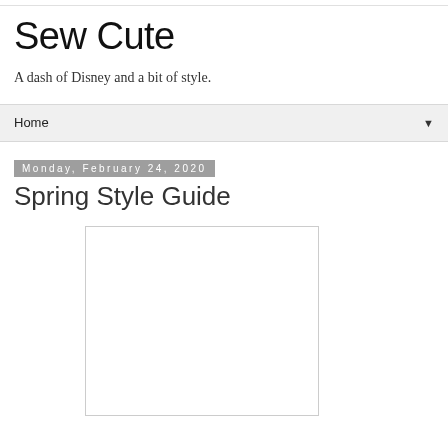Sew Cute
A dash of Disney and a bit of style.
Home
Monday, February 24, 2020
Spring Style Guide
[Figure (other): Empty white image placeholder with light gray border]